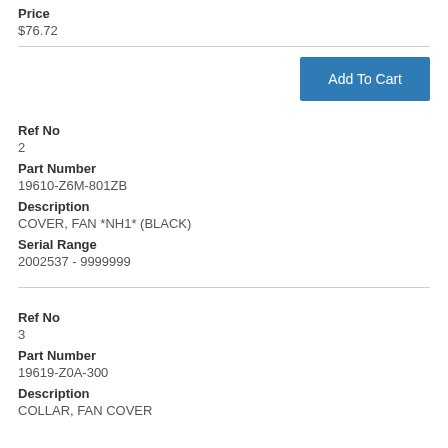Price
$76.72
[Figure (other): Add To Cart button]
Ref No
2
Part Number
19610-Z6M-801ZB
Description
COVER, FAN *NH1* (BLACK)
Serial Range
2002537 - 9999999
Ref No
3
Part Number
19619-Z0A-300
Description
COLLAR, FAN COVER